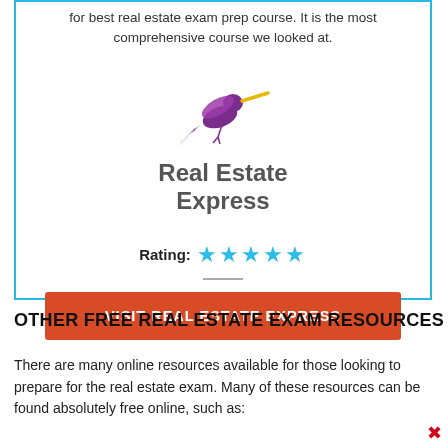for best real estate exam prep course. It is the most comprehensive course we looked at.
[Figure (logo): Real Estate Express logo with purple hummingbird and text 'Real Estate Express']
Rating: ★★★★★
VISIT REAL ESTATE EXPRESS
OTHER FREE REAL ESTATE EXAM RESOURCES
There are many online resources available for those looking to prepare for the real estate exam. Many of these resources can be found absolutely free online, such as: